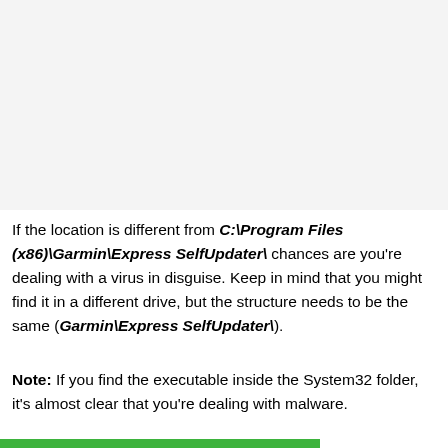[Figure (screenshot): Screenshot area placeholder, light gray background representing a captured image of a file location dialog or folder view.]
If the location is different from C:\Program Files (x86)\Garmin\Express SelfUpdater\ chances are you're dealing with a virus in disguise. Keep in mind that you might find it in a different drive, but the structure needs to be the same (Garmin\Express SelfUpdater\).
Note: If you find the executable inside the System32 folder, it's almost clear that you're dealing with malware.